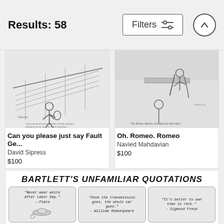Results: 58
Filters
[Figure (illustration): Cartoon of person playing tennis on a court, with caption text below]
Can you please just say Fault Ge...
David Sipress
$100
[Figure (illustration): Cartoon with Romeo and Juliet theme, caption reading 'Oh, Romeo, Romeo, I thought you said right.']
Oh. Romeo. Romeo
Navied Mahdavian
$100
[Figure (illustration): Wide cartoon panel titled BARTLETT'S UNFAMILIAR QUOTATIONS with three comic panels showing misattributed quotes by Plato, William Shakespeare, and Sigmund Freud]